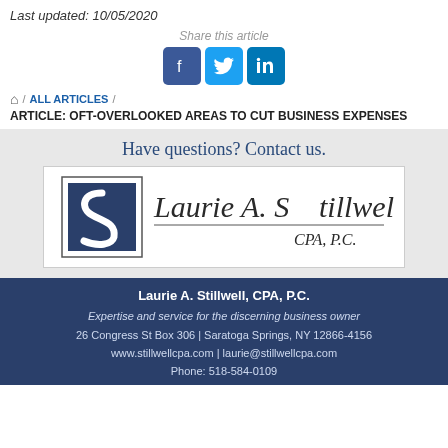Last updated: 10/05/2020
Share this article
[Figure (infographic): Social sharing icons for Facebook, Twitter, LinkedIn]
🏠 / ALL ARTICLES / ARTICLE: OFT-OVERLOOKED AREAS TO CUT BUSINESS EXPENSES
Have questions? Contact us.
[Figure (logo): Laurie A. Stillwell CPA, P.C. company logo with stylized S mark]
Laurie A. Stillwell, CPA, P.C.
Expertise and service for the discerning business owner
26 Congress St Box 306 | Saratoga Springs, NY 12866-4156
www.stillwellcpa.com | laurie@stillwellcpa.com
Phone: 518-584-0109